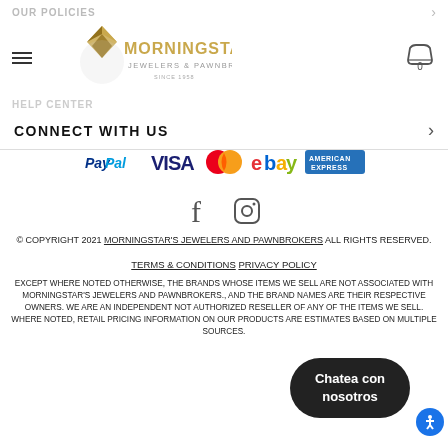OUR POLICIES | HELP CENTER | Morningstar's Jewelers & Pawnbrokers
CONNECT WITH US
[Figure (logo): Payment method logos: PayPal, VISA, MasterCard, eBay, American Express]
[Figure (illustration): Social media icons: Facebook, Instagram]
© COPYRIGHT 2021 MORNINGSTAR'S JEWELERS AND PAWNBROKERS ALL RIGHTS RESERVED.
TERMS & CONDITIONS   PRIVACY POLICY
EXCEPT WHERE NOTED OTHERWISE, THE BRANDS WHOSE ITEMS WE SELL ARE NOT ASSOCIATED WITH MORNINGSTAR'S JEWELERS AND PAWNBROKERS., AND THE BRAND NAMES ARE THEIR RESPECTIVE OWNERS. WE ARE AN INDEPENDENT NOT AUTHORIZED RESELLER OF ANY OF THE ITEMS WE SELL. WHERE NOTED, RETAIL PRICING INFORMATION ON OUR PRODUCTS ARE ESTIMATES BASED ON MULTIPLE SOURCES.